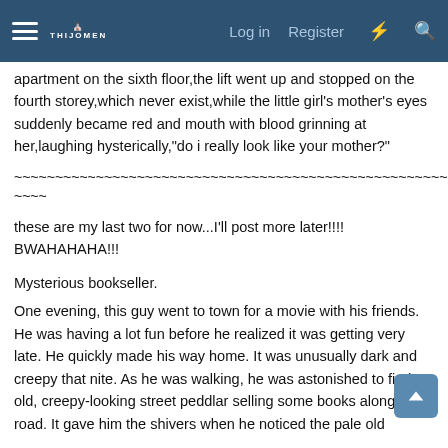Log in  Register
apartment on the sixth floor,the lift went up and stopped on the fourth storey,which never exist,while the little girl's mother's eyes suddenly became red and mouth with blood grinning at her,laughing hysterically,"do i really look like your mother?"
~~~~~~~~~~~~~~~~~~~~~~~~~~~~~~~~~~~~~~~~~~~~~~~~~~~~~~~~~~~~~~~~
these are my last two for now...I'll post more later!!!! BWAHAHAHA!!!
Mysterious bookseller.
One evening, this guy went to town for a movie with his friends. He was having a lot fun before he realized it was getting very late. He quickly made his way home. It was unusually dark and creepy that nite. As he was walking, he was astonished to find an old, creepy-looking street peddlar selling some books along the road. It gave him the shivers when he noticed the pale old